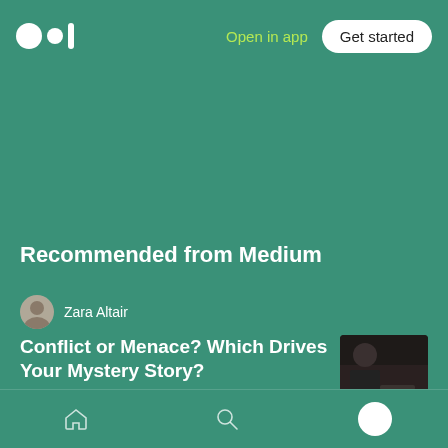Open in app | Get started
Recommended from Medium
Zara Altair
Conflict or Menace? Which Drives Your Mystery Story?
[Figure (photo): Thumbnail image of a dark scene with a person at a table]
Shaunta Grimes in The Write Brain
How to Write Exactly What Your Readers Want to Read
[Figure (photo): Thumbnail image of a person reading on a couch]
Home | Search | Profile